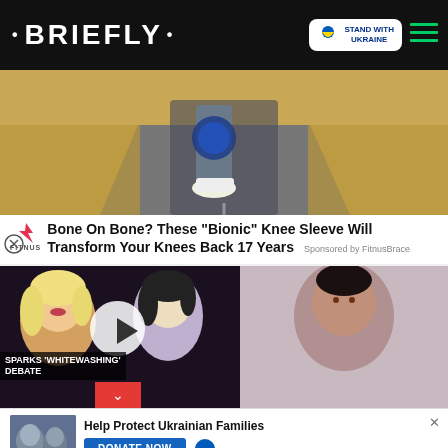• BRIEFLY •
[Figure (screenshot): BRIEFLY news website screenshot with Ukraine support badge and hamburger menu]
[Figure (photo): Ad image showing legs wearing a knee brace walking on a road]
FITNUS — Bone On Bone? These "Bionic" Knee Sleeve Will Transform Your Knees Back 17 Years
Sponsored by FitnusBrace
[Figure (screenshot): Video thumbnail showing blonde woman and dark-haired woman with text SPARKS 'WHITEWASHING' DEBATE]
[Figure (photo): Portrait photo of a woman with hair up]
[Figure (photo): Bottom thumbnail of people outdoors]
Help Protect Ukrainian Families
DONATE NOW